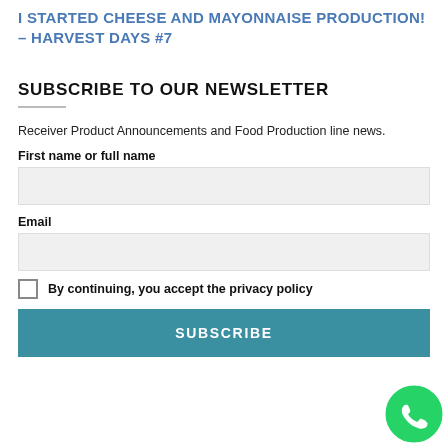I STARTED CHEESE AND MAYONNAISE PRODUCTION! – HARVEST DAYS #7
SUBSCRIBE TO OUR NEWSLETTER
Receiver Product Announcements and Food Production line news.
First name or full name
Email
By continuing, you accept the privacy policy
SUBSCRIBE